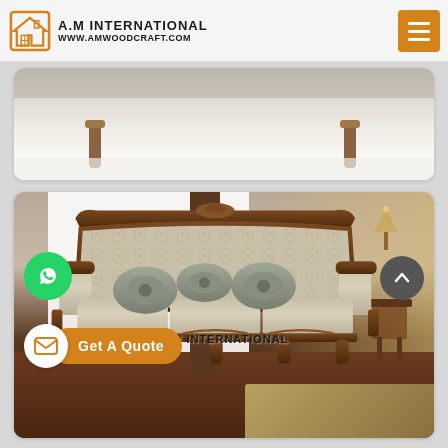[Figure (logo): A.M International logo with house icon and website www.amwoodcraft.com]
[Figure (photo): Partial view of ornate classical sofa legs, cropped at top]
[Figure (photo): Luxury classical three-seater sofa with damask fabric upholstery, wooden carved frame, decorative round cushions, in an elegant room setting. Watermark reads A M INTERNATIONAL]
A M INTERNATIONAL
Get A Quote